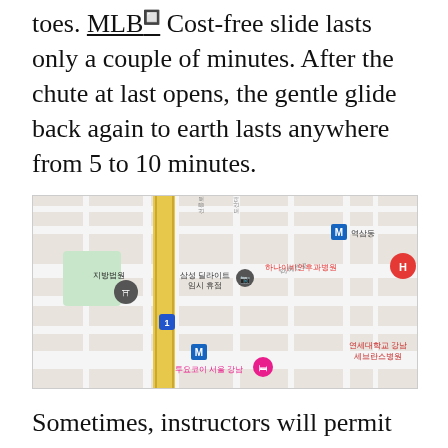toes. MLB🔲 Cost-free slide lasts only a couple of minutes. After the chute at last opens, the gentle glide back again to earth lasts anywhere from 5 to 10 minutes.
[Figure (map): Google Maps screenshot showing a street map of the Gangnam area in Seoul, South Korea. Landmarks visible include 지방법원 (District Court), 삼성 딜라이트 임시 휴점 (Samsung d'light temporary closure), 하나이비인후과병원 (Hana ENT Hospital), 연세대학교 강남세브란스병원 (Yonsei University Gangnam Severance Hospital), 투요코이 서울 강남 (Toyoko Inn Seoul Gangnam), and metro station markers.]
Sometimes, instructors will permit college students to help you steer the chute on the landing zone. This aids learners get the texture with the chute. Additionally, it